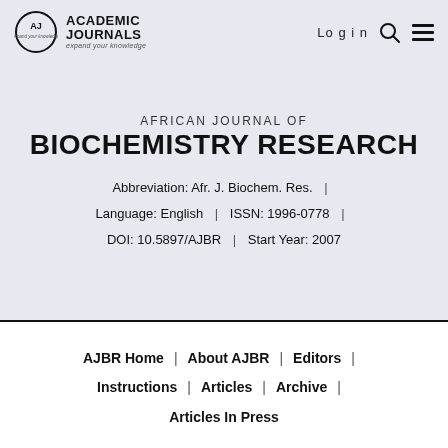[Figure (logo): Academic Journals logo with circle AJ icon and tagline 'expand your knowledge']
AFRICAN JOURNAL OF BIOCHEMISTRY RESEARCH
Abbreviation: Afr. J. Biochem. Res. | Language: English | ISSN: 1996-0778 | DOI: 10.5897/AJBR | Start Year: 2007
AJBR Home | About AJBR | Editors | Instructions | Articles | Archive | Articles In Press